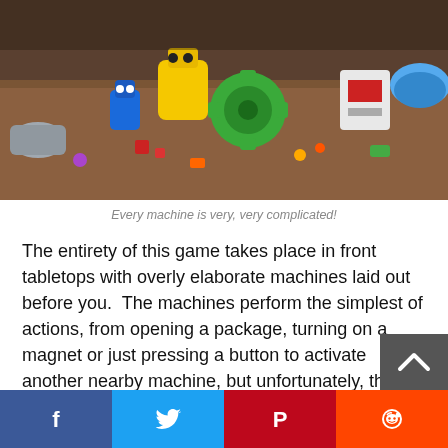[Figure (photo): Top-down view of a tabletop with colorful elaborate toy machines including a yellow robot, green gear mechanism, and various gadgets on a wooden surface.]
Every machine is very, very complicated!
The entirety of this game takes place in front tabletops with overly elaborate machines laid out before you.  The machines perform the simplest of actions, from opening a package, turning on a magnet or just pressing a button to activate another nearby machine, but unfortunately, they are always missing vital components.  That’s where you come in.  Each stage places you in front of the machine with the missing components to right in a briefcase and you need to place them in the correct locations to make this contraption work.  Each piece has a small marker on it and can be placed on similar markers scattered around the machine in empty spots
[Figure (infographic): Social sharing bar at the bottom with Facebook (blue), Twitter (light blue), Pinterest (red), and Reddit (orange) buttons.]